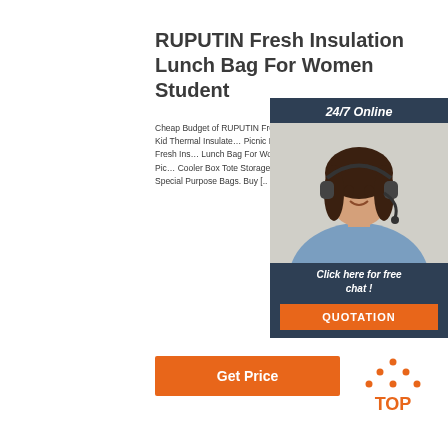RUPUTIN Fresh Insulation Lunch Bag For Women Student
Cheap Budget of RUPUTIN Fresh Insulation Lunch Bag For Women Student Kid Thermal Insulated Picnic Food Cooler Box Tote Storage Ice Bags RUPUTIN Fresh Insulation Lunch Bag For Women Student Kid Thermal Insulated Oxford Picnic Food Cooler Box Tote Storage Ice Bags is one of star products from the Special Purpose Bags. Buy [...
[Figure (other): Customer service chat widget with woman wearing headset, '24/7 Online' header, 'Click here for free chat!' text, and orange QUOTATION button]
[Figure (other): Orange Get Price button]
[Figure (logo): TOP logo with orange dotted triangle and orange text TOP]